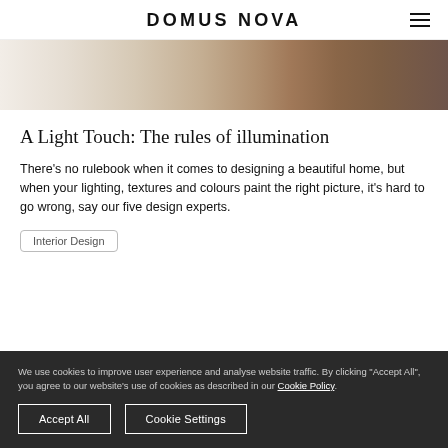DOMUS NOVA
[Figure (photo): Interior design photo showing furniture with marble surfaces, wooden chairs, and fabric ottoman in warm tones]
A Light Touch: The rules of illumination
There's no rulebook when it comes to designing a beautiful home, but when your lighting, textures and colours paint the right picture, it's hard to go wrong, say our five design experts.
Interior Design
We use cookies to improve user experience and analyse website traffic. By clicking "Accept All", you agree to our website's use of cookies as described in our Cookie Policy.